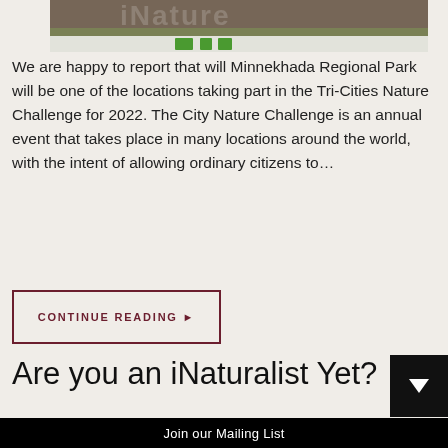[Figure (photo): Partial top view of a Nature iNaturalist banner/logo with green text and natural background imagery]
We are happy to report that will Minnekhada Regional Park will be one of the locations taking part in the Tri-Cities Nature Challenge for 2022. The City Nature Challenge is an annual event that takes place in many locations around the world, with the intent of allowing ordinary citizens to…
CONTINUE READING ▶
Are you an iNaturalist Yet?
Join our Mailing List
Your email address..
Subscribe